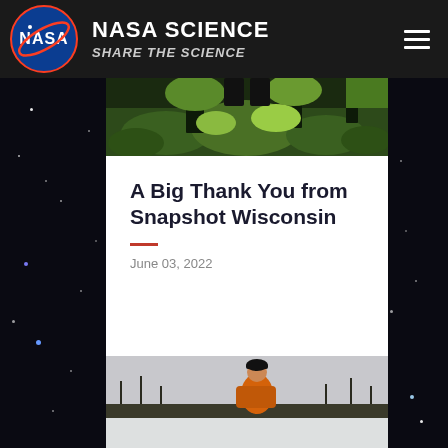NASA SCIENCE — SHARE THE SCIENCE
[Figure (photo): Forest scene with green ferns and mossy trees, partial view]
A Big Thank You from Snapshot Wisconsin
June 03, 2022
[Figure (photo): Person wearing orange jacket and black knit hat standing in a snowy field with trees in background]